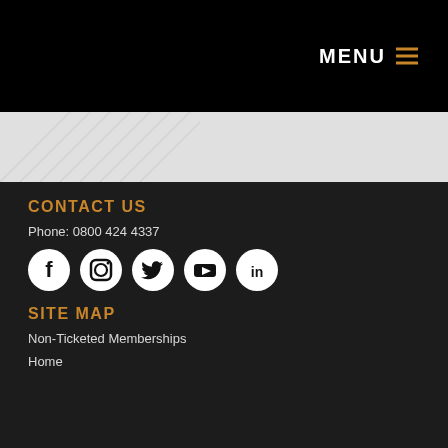MENU ≡
[Figure (illustration): Light gray hero area with subtle diagonal pattern/texture on the left side]
CONTACT US
Phone: 0800 424 4337
[Figure (infographic): Five white circular social media icons on dark background: Facebook, Instagram, Twitter, YouTube, LinkedIn]
SITE MAP
Non-Ticketed Memberships
Home